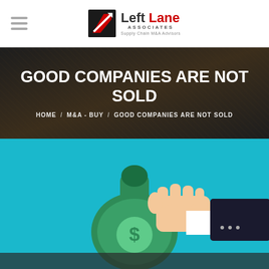[Figure (logo): Left Lane Associates logo with diagonal arrow icon, company name in black and red, subtitle 'ASSOCIATES' and tagline 'Supply Chain M&A Advisors']
GOOD COMPANIES ARE NOT SOLD
HOME / M&A - BUY / GOOD COMPANIES ARE NOT SOLD
[Figure (illustration): Illustration of a hand in a business suit holding a green money bag with a dollar sign on a cyan/turquoise background]